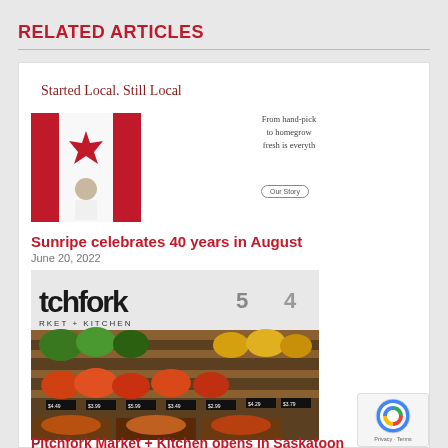RELATED ARTICLES
[Figure (photo): Canadian flag mosaic with person standing in front — 'Started Local. Still Local' promotional image with text 'From hand-pick to homegrow fresh is everyth' and 'Our Story' button]
Sunripe celebrates 40 years in August
June 20, 2022
[Figure (photo): Interior of Pitchfork Market + Kitchen store showing produce shelves with fruits and vegetables, price tags, and 'tchfork RKET + KITCHEN' signage]
Pitchfork Market + Kitchen opens in Saskatoon
June 20, 2022
[Figure (logo): Google reCAPTCHA badge with Privacy and Terms links]